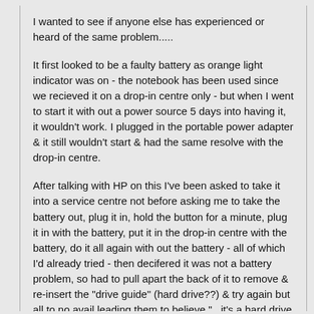I wanted to see if anyone else has experienced or heard of the same problem.....
It first looked to be a faulty battery as orange light indicator was on - the notebook has been used since we recieved it on a drop-in centre only - but when I went to start it with out a power source 5 days into having it, it wouldn't work. I plugged in the portable power adapter & it still wouldn't start & had the same resolve with the drop-in centre.
After talking with HP on this I've been asked to take it into a service centre not before asking me to take the battery out, plug it in, hold the button for a minute, plug it in with the battery, put it in the drop-in centre with the battery, do it all again with out the battery - all of which I'd already tried - then decifered it was not a battery problem, so had to pull apart the back of it to remove & re-insert the "drive guide" (hard drive??) & try again but all to no avail leading them to believe "...it's a hard drive or mainframe problem".
If anyone else has experienced this or a similar problem, could you